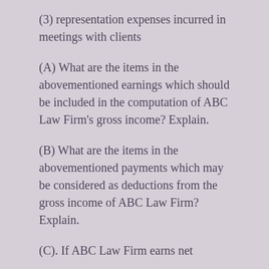(3) representation expenses incurred in meetings with clients
(A) What are the items in the abovementioned earnings which should be included in the computation of ABC Law Firm's gross income? Explain.
(B) What are the items in the abovementioned payments which may be considered as deductions from the gross income of ABC Law Firm? Explain.
(C). If ABC Law Firm earns net